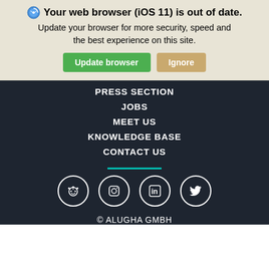Your web browser (iOS 11) is out of date. Update your browser for more security, speed and the best experience on this site.
[Figure (screenshot): Two buttons: 'Update browser' in green and 'Ignore' in tan/gold]
PRESS SECTION
JOBS
MEET US
KNOWLEDGE BASE
CONTACT US
[Figure (illustration): Teal horizontal divider line]
[Figure (illustration): Four social media icons in white circles: Reddit, Instagram, LinkedIn, Twitter]
© ALUGHA GMBH